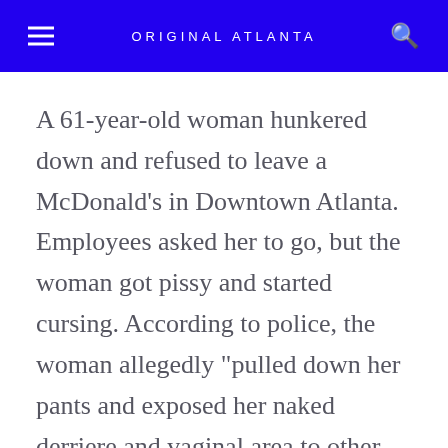ORIGINAL ATLANTA
A 61-year-old woman hunkered down and refused to leave a McDonald's in Downtown Atlanta. Employees asked her to go, but the woman got pissy and started cursing. According to police, the woman allegedly "pulled down her pants and exposed her naked derriere and vaginal area to other patrons inside the restaurant. Also, she urinated inside the